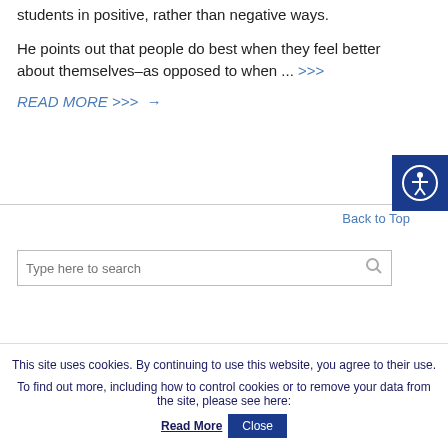students in positive, rather than negative ways.
He points out that people do best when they feel better about themselves–as opposed to when ... >>>
READ MORE >>> →
Back to Top
[Figure (other): Accessibility icon button — circular person with outstretched arms in white on dark blue square background]
Type here to search
This site uses cookies. By continuing to use this website, you agree to their use. To find out more, including how to control cookies or to remove your data from the site, please see here: Read More